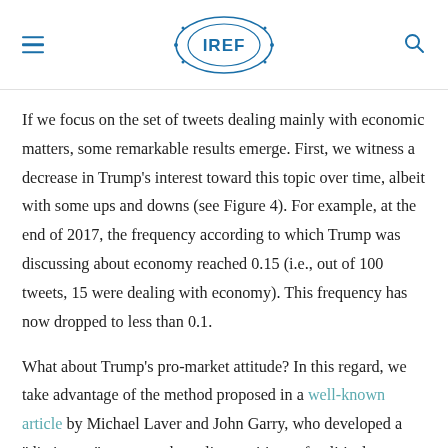IREF
If we focus on the set of tweets dealing mainly with economic matters, some remarkable results emerge. First, we witness a decrease in Trump’s interest toward this topic over time, albeit with some ups and downs (see Figure 4). For example, at the end of 2017, the frequency according to which Trump was discussing about economy reached 0.15 (i.e., out of 100 tweets, 15 were dealing with economy). This frequency has now dropped to less than 0.1.
What about Trump’s pro-market attitude? In this regard, we take advantage of the method proposed in a well-known article by Michael Laver and John Garry, who developed a “dictionary” to assess the policy positions of political actors by screening their speeches and written documents through sets of key words. In our